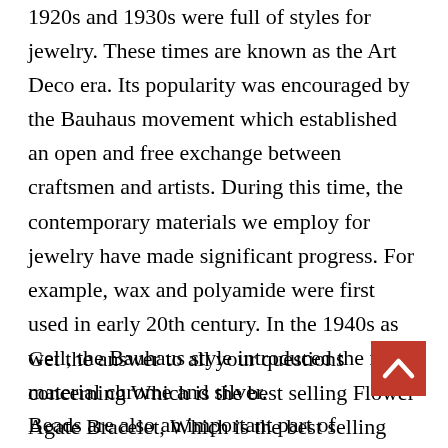1920s and 1930s were full of styles for jewelry. These times are known as the Art Deco era. Its popularity was encouraged by the Bauhaus movement which established an open and free exchange between craftsmen and artists. During this time, the contemporary materials we employ for jewelry have made significant progress. For example, wax and polyamide were first used in early 20th century. In the 1940s as well, the Bauhaus style introduced the new material chrome and silver.
Get the answer to all your questions concerning Which is the best selling Flower Agate Bracelet, Which is the best selling Flower Agate Bracelet , and Which is the best selling Flower Agate Bracelet ...
[Figure (other): Red back-to-top button with white upward arrow chevron]
Beads are also an important part of jewellery throughout history. There are a wide variety of